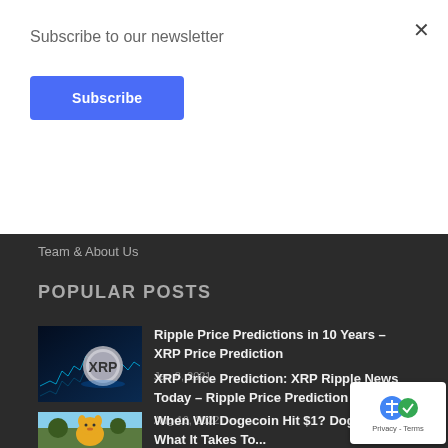Subscribe to our newsletter
Subscribe
Team & About Us
POPULAR POSTS
Ripple Price Predictions in 10 Years – XRP Price Prediction
Jan 8, 2021
[Figure (photo): XRP Ripple coin with blue financial chart background]
XRP Price Prediction: XRP Ripple News Today – Ripple Price Prediction
Aug 16, 2022
[Figure (photo): Dogecoin Shiba Inu dog meme photo outdoors]
When Will Dogecoin Hit $1? Dogecoin What It Takes To...